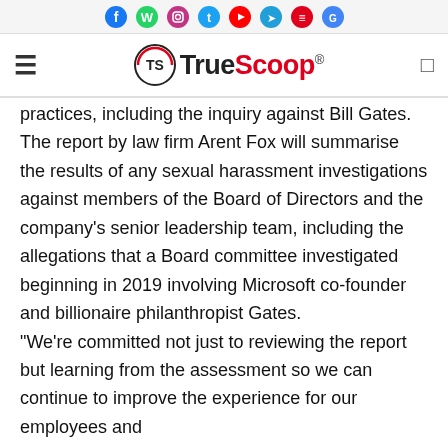[Social media icon bar: Facebook, WhatsApp, Instagram, Twitter, YouTube, Telegram, News, Google News]
TrueScoop® [hamburger menu] [search icon]
practices, including the inquiry against Bill Gates. The report by law firm Arent Fox will summarise the results of any sexual harassment investigations against members of the Board of Directors and the company's senior leadership team, including the allegations that a Board committee investigated beginning in 2019 involving Microsoft co-founder and billionaire philanthropist Gates. "We're committed not just to reviewing the report but learning from the assessment so we can continue to improve the experience for our employees and...